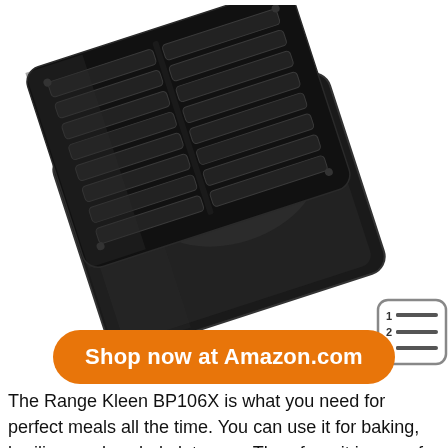[Figure (photo): Black broiler pan set (grill rack on top of drip pan) shown at an angle on white background]
[Figure (illustration): Small numbered list icon with lines, inside a rounded square border]
Shop now at Amazon.com
The Range Kleen BP106X is what you need for perfect meals all the time. You can use it for baking, broiling, and a whole lot more. Therefore, it is one of the essential